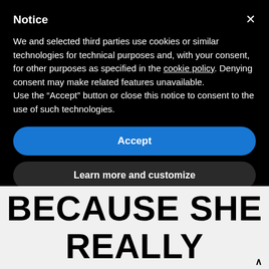Notice
We and selected third parties use cookies or similar technologies for technical purposes and, with your consent, for other purposes as specified in the cookie policy. Denying consent may make related features unavailable.
Use the “Accept” button or close this notice to consent to the use of such technologies.
Accept
Learn more and customize
BECAUSE SHE REALLY REMINDS ME OF